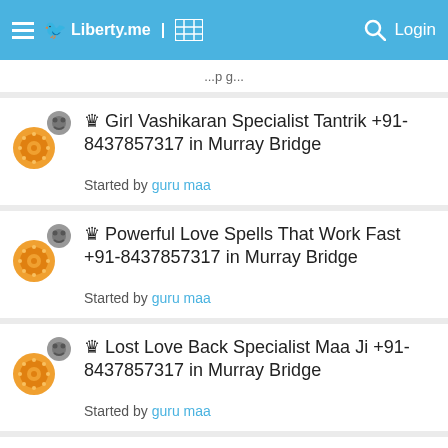Liberty.me | Login
♛ Girl Vashikaran Specialist Tantrik +91-8437857317 in Murray Bridge
Started by guru maa
♛ Powerful Love Spells That Work Fast +91-8437857317 in Murray Bridge
Started by guru maa
♛ Lost Love Back Specialist Maa Ji +91-8437857317 in Murray Bridge
Started by guru maa
Late Marriage Problem Solution +91-9694102888 in Nagpur
Started by varun kumar